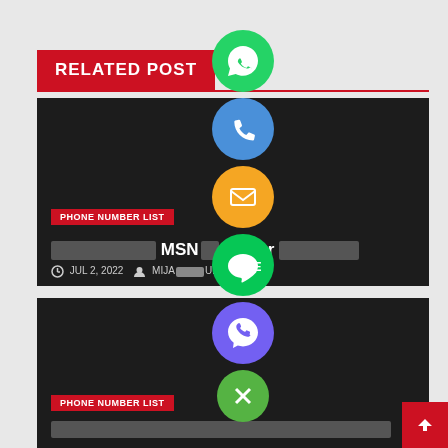[Figure (screenshot): Social share buttons column: WhatsApp (green), Phone/Call (blue), Email (orange), LINE (green), Viber (purple), Close/X (green) — circular icon buttons stacked vertically in the center of the page]
RELATED POST
[Figure (screenshot): Dark card with PHONE NUMBER LIST badge, redacted title text containing 'MSN Center', date JUL 2, 2022, author MIJA__UL]
[Figure (screenshot): Dark card with PHONE NUMBER LIST badge and redacted title text]